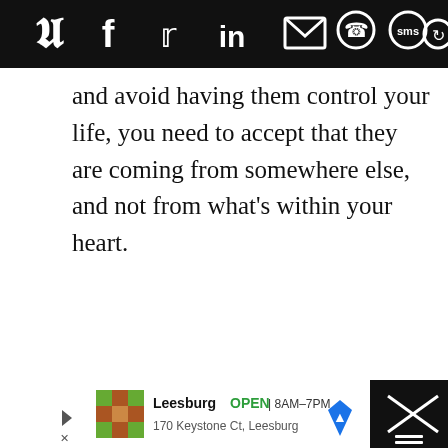[Figure (screenshot): Black top bar with social sharing icons: Pinterest, Facebook, Twitter, LinkedIn, Email, WhatsApp, SMS, and a circular arrow/share icon — all white on black background]
and avoid having them control your life, you need to accept that they are coming from somewhere else, and not from what's within your heart.
[Figure (screenshot): Advertisement bar at bottom: Leesburg OPEN 8AM-7PM, 170 Keystone Ct, Leesburg with map icon, close button with X on dark background]